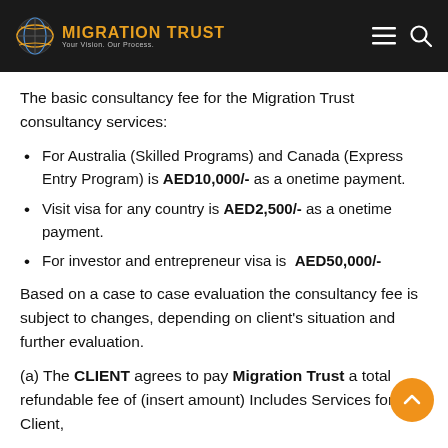MIGRATION TRUST — Your Vision. Our Process.
The basic consultancy fee for the Migration Trust consultancy services:
For Australia (Skilled Programs) and Canada (Express Entry Program) is AED10,000/- as a onetime payment.
Visit visa for any country is AED2,500/- as a onetime payment.
For investor and entrepreneur visa is  AED50,000/-
Based on a case to case evaluation the consultancy fee is subject to changes, depending on client's situation and further evaluation.
(a) The CLIENT agrees to pay Migration Trust a total refundable fee of (insert amount) Includes Services for Client,